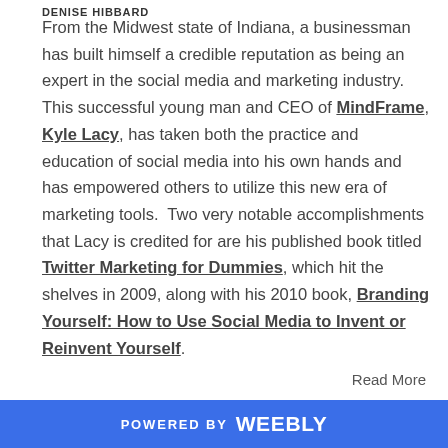DENISE HIBBARD
From the Midwest state of Indiana, a businessman has built himself a credible reputation as being an expert in the social media and marketing industry. This successful young man and CEO of MindFrame, Kyle Lacy, has taken both the practice and education of social media into his own hands and has empowered others to utilize this new era of marketing tools. Two very notable accomplishments that Lacy is credited for are his published book titled Twitter Marketing for Dummies, which hit the shelves in 2009, along with his 2010 book, Branding Yourself: How to Use Social Media to Invent or Reinvent Yourself.
Read More
POWERED BY weebly